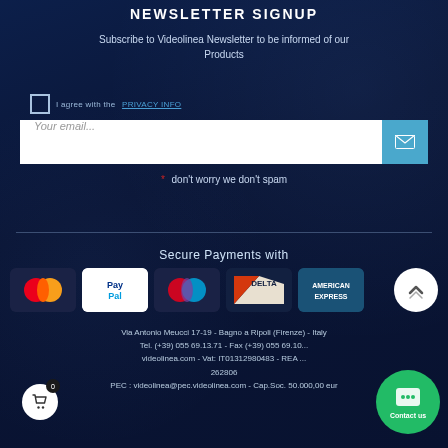NEWSLETTER SIGNUP
Subscribe to Videolinea Newsletter to be informed of our Products
* don't worry we don't spam
[Figure (infographic): Payment icons row: Mastercard, PayPal, Mastercard, Delta, American Express logos]
Secure Payments with
Via Antonio Meucci 17-19 - Bagno a Ripoli (Firenze) - Italy
Tel. (+39) 055 69.13.71 - Fax (+39) 055 69.10...
videolinea.com - Vat: IT01312980483 - REA ...
262806
PEC : videolinea@pec.videolinea.com - Cap.Soc. 50.000,00 eur